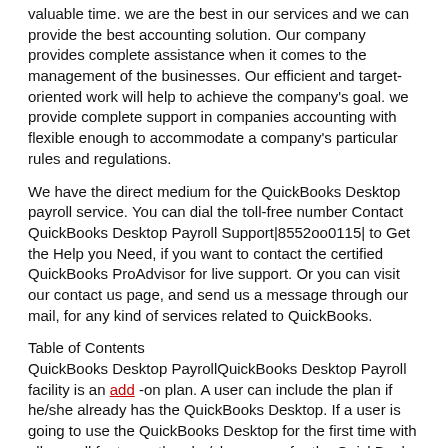valuable time. we are the best in our services and we can provide the best accounting solution. Our company provides complete assistance when it comes to the management of the businesses. Our efficient and target-oriented work will help to achieve the company's goal. we provide complete support in companies accounting with flexible enough to accommodate a company's particular rules and regulations.
We have the direct medium for the QuickBooks Desktop payroll service. You can dial the toll-free number Contact QuickBooks Desktop Payroll Support|8552oo0115| to Get the Help you Need, if you want to contact the certified QuickBooks ProAdvisor for live support. Or you can visit our contact us page, and send us a message through our mail, for any kind of services related to QuickBooks.
Table of Contents
QuickBooks Desktop PayrollQuickBooks Desktop Payroll facility is an add -on plan. A user can include the plan if he/she already has the QuickBooks Desktop. If a user is going to use the QuickBooks Desktop for the first time with all payroll features, then he/she can go for the QuickBooks Desktop payroll plans. It makes the payroll easier, faster, and updates all the data in real-time.
Plans & Pricing
According to business needs, size, and systems, QuickBooks Desktop Payroll is available in two different plans. They are; Desktop Enhanced Payroll and Desktop Assisted Payroll.